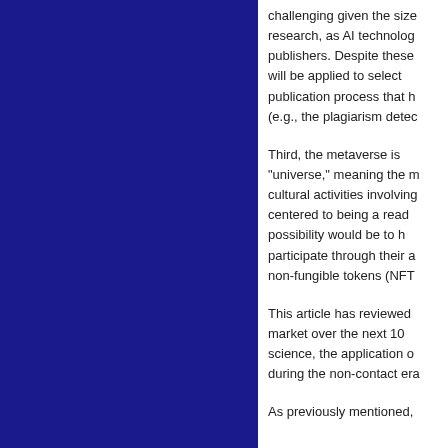challenging given the size research, as AI technology publishers. Despite these will be applied to select publication process that h (e.g., the plagiarism detec
Third, the metaverse is “universe,” meaning the m cultural activities involving centered to being a read possibility would be to h participate through their a non-fungible tokens (NFT
This article has reviewed market over the next 10 science, the application o during the non-contact era
As previously mentioned,